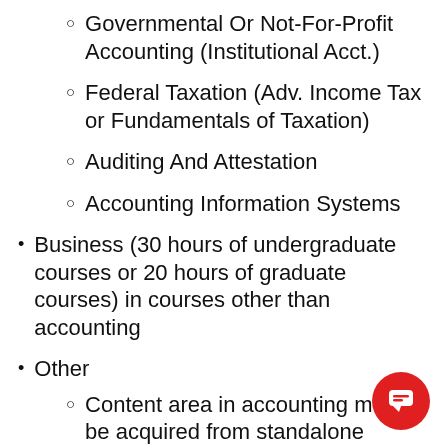Governmental Or Not-For-Profit Accounting (Institutional Acct.)
Federal Taxation (Adv. Income Tax or Fundamentals of Taxation)
Auditing And Attestation
Accounting Information Systems
Business (30 hours of undergraduate courses or 20 hours of graduate courses) in courses other than accounting
Other
Content area in accounting may be acquired from standalone